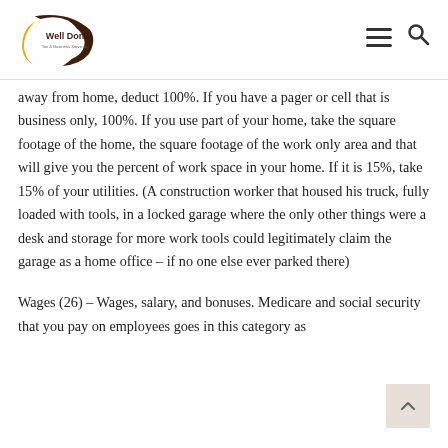Well Done Tax & Business Services
away from home, deduct 100%.  If you have a pager or cell that is business only, 100%. If you use part of your home, take the square footage of the home, the square footage of the work only area and that will give you the percent of work space in your home.  If it is 15%, take 15% of your utilities.  (A construction worker that housed his truck, fully loaded with tools, in a locked garage where the only other things were a desk and storage for more work tools could legitimately claim the garage as a home office – if no one else ever parked there)
Wages (26) – Wages, salary, and bonuses.  Medicare and social security that you pay on employees goes in this category as